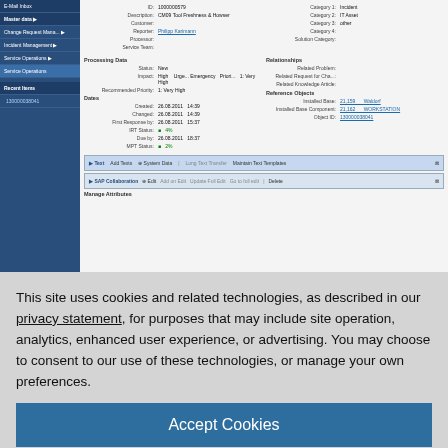[Figure (screenshot): SAP service management interface screenshot showing incident details with sidebar navigation, form fields for Processing Data (Status: New, Impact: High, Recommended Priority: 1. Very High), Dates section, Relationships section, and tabbed panels for Text, Add Text, System Data at the bottom.]
This site uses cookies and related technologies, as described in our privacy statement, for purposes that may include site operation, analytics, enhanced user experience, or advertising. You may choose to consent to our use of these technologies, or manage your own preferences.
Accept Cookies
More Information
Privacy Policy | Powered by: TrustArc
[Figure (screenshot): Bottom strip of SAP interface showing Solutions tab area with column headers.]